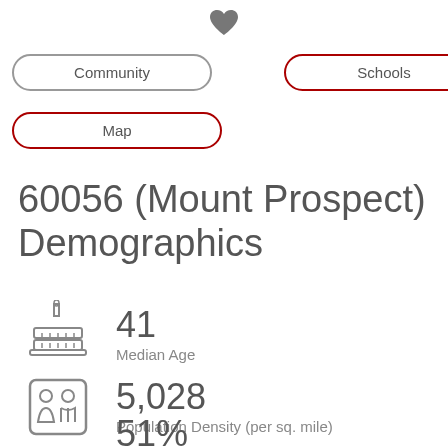[Figure (illustration): Heart icon at top center]
Community
Schools
Map
60056 (Mount Prospect) Demographics
[Figure (illustration): Birthday cake icon representing Median Age]
41
Median Age
[Figure (illustration): People/family icon representing Population Density]
5,028
Population Density (per sq. mile)
[Figure (illustration): House icon partially visible at bottom, representing a third statistic starting with 51%]